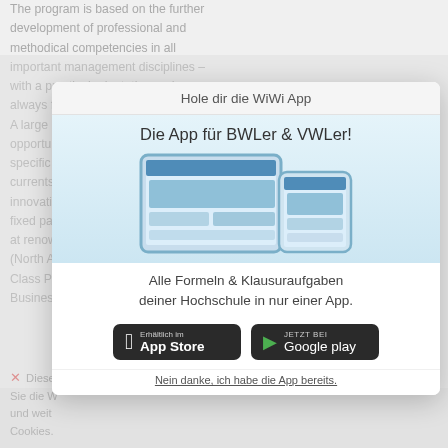The program is based on the further development of professional and methodical competencies in all important management disciplines – with a practical orientation and always from a leadership perspective. A large number of elective courses offer students the opportunity to develop and deepen specific skills. The program reflects the currents of research and constantly incorporates innovations in teaching methods. It has fixed partnerships with universities abroad at renowned and leading universities (North America, Asia, Europe) and a World Class Program ranked by the Financial Times Business...
✕ Diese ... Sie die W... und weit... Cookies.
[Figure (screenshot): Popup overlay promoting the WiWi App: 'Hole dir die WiWi App' header, 'Die App für BWLer & VWLer!' title, illustration of a tablet and smartphone showing the app, slogan 'Alle Formeln & Klausuraufgaben deiner Hochschule in nur einer App.', App Store and Google Play download buttons, dismiss link 'Nein danke, ich habe die App bereits.']